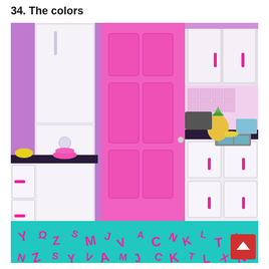34. The colors
[Figure (photo): A brightly colored kitchen with purple walls, a hot pink door, white cabinets with hot pink handles, black countertops, a white retro-style refrigerator, a patterned backsplash, a pineapple and bananas on the counter, various kitchen items, a sink, and a turquoise floor with bold hot pink abstract letter/shape patterns.]